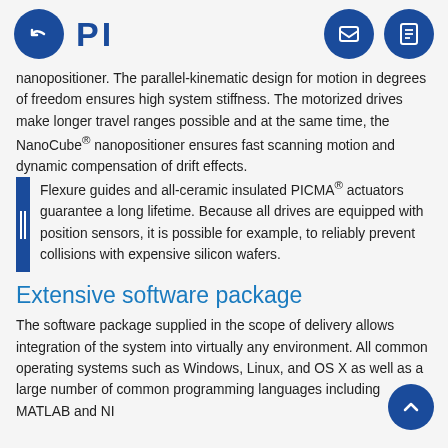PI
nanopositioner. The parallel-kinematic design for motion in degrees of freedom ensures high system stiffness. The motorized drives make longer travel ranges possible and at the same time, the NanoCube® nanopositioner ensures fast scanning motion and dynamic compensation of drift effects. Flexure guides and all-ceramic insulated PICMA® actuators guarantee a long lifetime. Because all drives are equipped with position sensors, it is possible for example, to reliably prevent collisions with expensive silicon wafers.
Extensive software package
The software package supplied in the scope of delivery allows integration of the system into virtually any environment. All common operating systems such as Windows, Linux, and OS X as well as a large number of common programming languages including MATLAB and NI